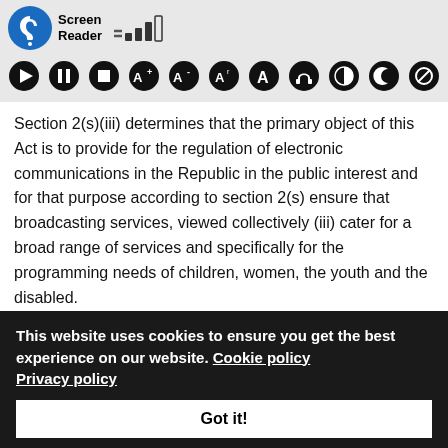[Figure (screenshot): Screen Reader toolbar with accessibility icon, signal bars, and accessibility control buttons (play, pause, stop, font size, contrast, and other controls)]
Section 2(s)(iii) determines that the primary object of this Act is to provide for the regulation of electronic communications in the Republic in the public interest and for that purpose according to section 2(s) ensure that broadcasting services, viewed collectively (iii) cater for a broad range of services and specifically for the programming needs of children, women, the youth and the disabled.
Electronic Communications and Transactions Act 25
This website uses cookies to ensure you get the best experience on our website. Cookie policy Privacy policy
Got it!